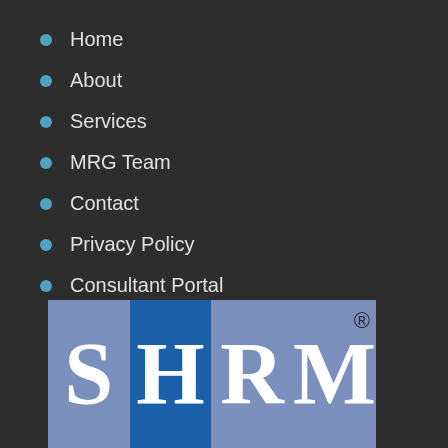Home
About
Services
MRG Team
Contact
Privacy Policy
Consultant Portal
[Figure (logo): SHRM logo with large white letters S, H, R, M on alternating steel blue and dark blue square panels, with registered trademark symbol]